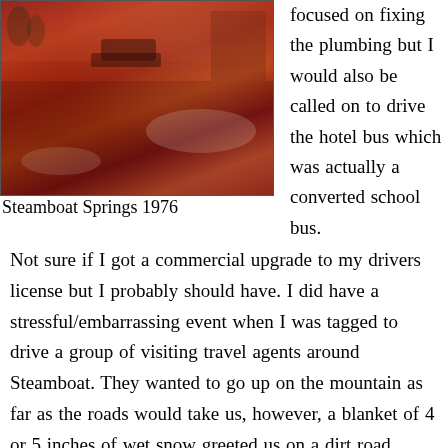[Figure (photo): Vintage reddish-toned photograph of a snowy street scene, likely Steamboat Springs, Colorado, 1976. Cars and buildings visible in the background.]
Steamboat Springs 1976
focused on fixing the plumbing but I would also be called on to drive the hotel bus which was actually a converted school bus. Not sure if I got a commercial upgrade to my drivers license but I probably should have. I did have a stressful/embarrassing event when I was tagged to drive a group of visiting travel agents around Steamboat. They wanted to go up on the mountain as far as the roads would take us, however, a blanket of 4 or 5 inches of wet snow greeted us on a dirt road which may have been today's Apres Ski Way. Well as I started up the incline I lost traction and the bus started to slide back